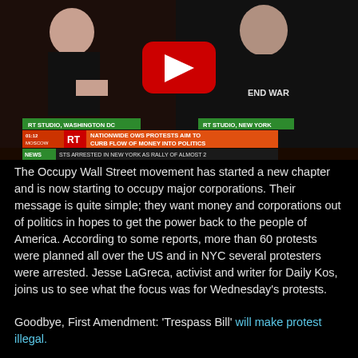[Figure (screenshot): YouTube video thumbnail showing RT (Russia Today) news broadcast. Two anchors visible — a woman on the left and a man on the right wearing an 'END WAR' shirt. Red YouTube play button overlay in center. Lower-third chyrons read: 'RT STUDIO, WASHINGTON DC' and 'RT STUDIO, NEW YORK' in green bars. Main headline banner reads '01:12 MOSCOW | RT | NATIONWIDE OWS PROTESTS AIM TO CURB FLOW OF MONEY INTO POLITICS'. News ticker at bottom reads 'NEWS | STS ARRESTED IN NEW YORK AS RALLY OF ALMOST 2']
The Occupy Wall Street movement has started a new chapter and is now starting to occupy major corporations. Their message is quite simple; they want money and corporations out of politics in hopes to get the power back to the people of America. According to some reports, more than 60 protests were planned all over the US and in NYC several protesters were arrested. Jesse LaGreca, activist and writer for Daily Kos, joins us to see what the focus was for Wednesday's protests.
Goodbye, First Amendment: 'Trespass Bill' will make protest illegal.